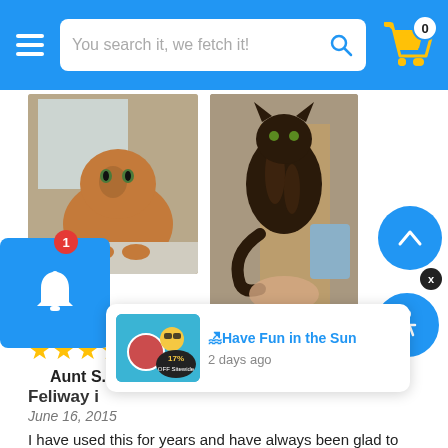You search it, we fetch it!
[Figure (photo): Two cat photos side by side: left shows an orange tabby cat sitting on carpet near a window, right shows a dark tortoiseshell cat near what appears to be a cat door or window.]
★★★★★
Aunt S.
Feliway i...
June 16, 2015
I have used this for years and have always been glad to know about it. My neighbor and I have been working with a feral cat colony on
[Figure (advertisement): Beach Day ad showing 17% off with pool/swimming themed graphics]
🏖Have Fun in the Sun
2 days ago